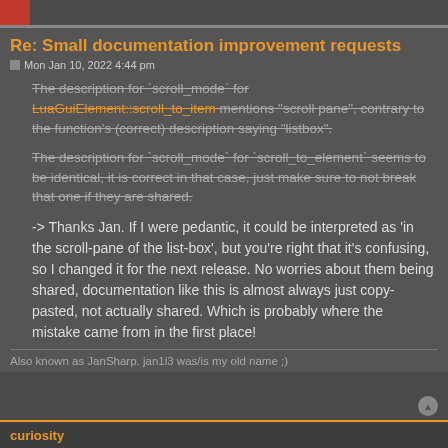Re: Small documentation improvement requests
Mon Jan 10, 2022 4:44 pm
The description for `scroll_mode` for LuaGuiElement::scroll_to_item mentions "scroll pane", contrary to the function's (correct) description saying "listbox".
The description for `scroll_mode` for `scroll_to_element` seems to be identical, it is correct in that case, just make sure to not break that one if they are shared.
-> Thanks Jan. If I were pedantic, it could be interpreted as 'in the scroll-pane of the list-box', but you're right that it's confusing, so I changed it for the next release. No worries about them being shared, documentation like this is almost always just copy-pasted, not actually shared. Which is probably where the mistake came from in the first place!
Also known as JanSharp. jan1i3 was/is my old name ;)
curiosity